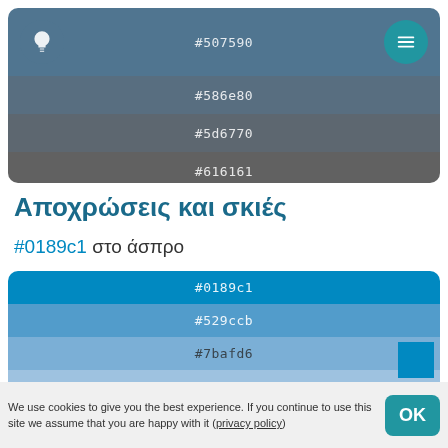[Figure (screenshot): App header bar showing color swatches with hex codes #507590, #586e80, #5d6770, #616161 on a dark blue-grey gradient background, with a lightbulb icon on the left and a hamburger menu icon on the right]
Αποχρώσεις και σκιές
#0189c1 στο άσπρο
[Figure (infographic): Color palette swatch panel showing five horizontal rows of blue shades: #0189c1, #529ccb, #7bafd6, #9ec2e0, #bfd6ea]
We use cookies to give you the best experience. If you continue to use this site we assume that you are happy with it (privacy policy)